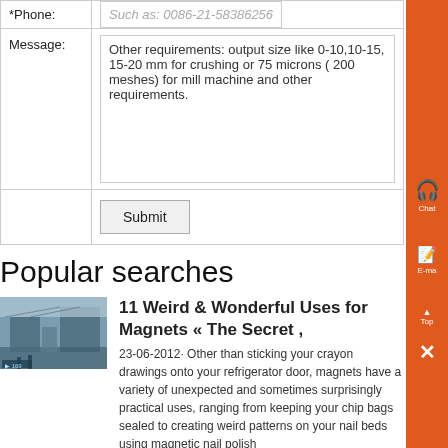| *Phone: | Such as: 0086-21-58386256 |
| Message: | Other requirements: output size like 0-10,10-15, 15-20 mm for crushing or 75 microns ( 200 meshes) for mill machine and other requirements. |
|  | Submit |
Popular searches
[Figure (photo): Thumbnail image of industrial or magnetic equipment]
11 Weird & Wonderful Uses for Magnets « The Secret ,
23-06-2012· Other than sticking your crayon drawings onto your refrigerator door, magnets have a variety of unexpected and sometimes surprisingly practical uses, ranging from keeping your chip bags sealed to creating weird patterns on your nail beds using magnetic nail polish